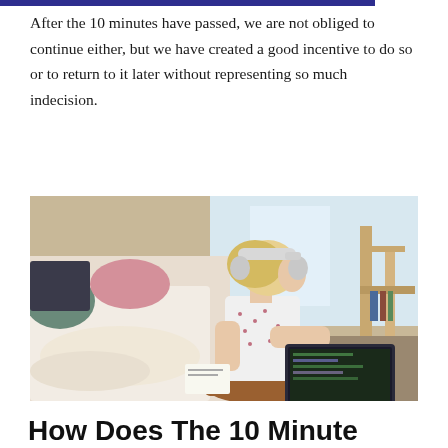After the 10 minutes have passed, we are not obliged to continue either, but we have created a good incentive to do so or to return to it later without representing so much indecision.
[Figure (photo): A young blonde woman wearing white headphones sits cross-legged on the floor leaning against a bed, working on a laptop in a cozy bedroom setting.]
How Does The 10 Minute Rule Work?